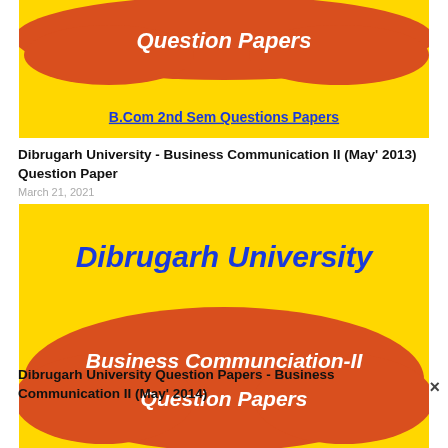[Figure (illustration): Yellow card banner with red blob shape containing text 'Question Papers' in white bold, and blue underlined link 'B.Com 2nd Sem Questions Papers' at bottom on yellow background]
Dibrugarh University - Business Communication II (May' 2013) Question Paper
March 21, 2021
[Figure (illustration): Yellow card banner with 'Dibrugarh University' in bold blue italic at top, red blob shape containing 'Business Communciation-II Question Papers' in white bold, and blue underlined link 'B.Com 2nd Sem Questions Papers' at bottom]
Dibrugarh University Question Papers - Business Communication II (May' 2014)